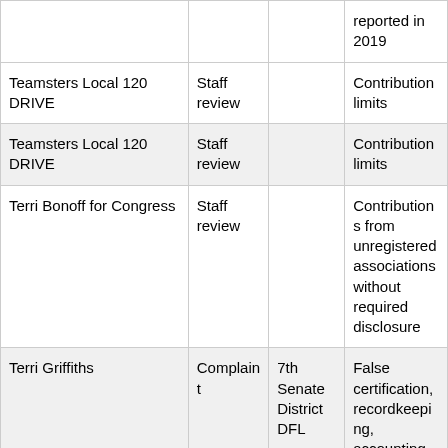| Committee/Entity | Type | Respondent | Issue |
| --- | --- | --- | --- |
|  |  |  | reported in 2019 |
| Teamsters Local 120 DRIVE | Staff review |  | Contribution limits |
| Teamsters Local 120 DRIVE | Staff review |  | Contribution limits |
| Terri Bonoff for Congress | Staff review |  | Contributions from unregistered associations without required disclosure |
| Terri Griffiths | Complaint | 7th Senate District DFL | False certification, recordkeeping, accounting, reporting |
| Terry Morrow Campaign Committee | Staff review |  | Aggregate special source limit |
| The David Bly Campaign | Complaint | Douglas Jones | Reporting noncampaign... |